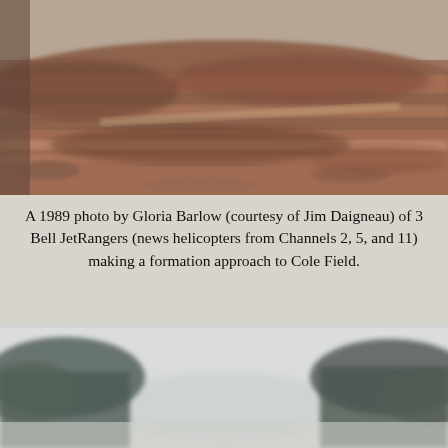[Figure (photo): Aerial or close-up photo of reddish-brown rocky terrain or eroded hillside, showing layered sediment and scrubby vegetation, blurry/out-of-focus landscape.]
A 1989 photo by Gloria Barlow (courtesy of Jim Daigneau) of 3 Bell JetRangers (news helicopters from Channels 2, 5, and 11) making a formation approach to Cole Field.
[Figure (photo): A hazy/misty outdoor photo showing silhouettes of dark trees against a pale grey-white sky, with a faint clearing or field visible between them. Very low contrast, overcast conditions.]